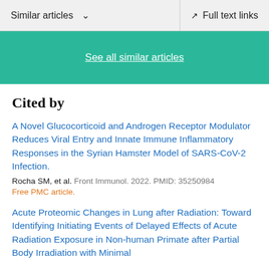Similar articles  ∨    Full text links
See all similar articles
Cited by
A Novel Glucocorticoid and Androgen Receptor Modulator Reduces Viral Entry and Innate Immune Inflammatory Responses in the Syrian Hamster Model of SARS-CoV-2 Infection.
Rocha SM, et al. Front Immunol. 2022. PMID: 35250984
Free PMC article.
Acute Proteomic Changes in Lung after Radiation: Toward Identifying Initiating Events of Delayed Effects of Acute Radiation Exposure in Non-human Primate after Partial Body Irradiation with Minimal